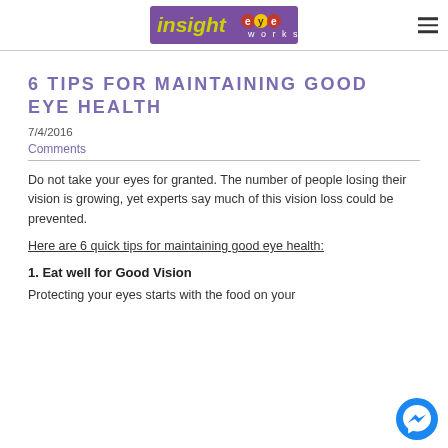insight eyeworks
6 TIPS FOR MAINTAINING GOOD EYE HEALTH
7/4/2016
Comments
Do not take your eyes for granted. The number of people losing their vision is growing, yet experts say much of this vision loss could be prevented.
Here are 6 quick tips for maintaining good eye health:
1. Eat well for Good Vision
Protecting your eyes starts with the food on your plate. Nutrients such as omega-3 fatty acids, lutein, zinc, and vitamins C and E might help ward off age-related vision problems...